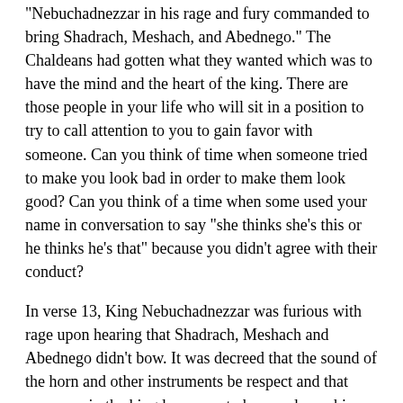“Nebuchadnezzar in his rage and fury commanded to bring Shadrach, Meshach, and Abednego.”  The Chaldeans had gotten what they wanted which was to have the mind and the heart of the king.  There are those people in your life who will sit in a position to try to call attention to you to gain favor with someone. Can you think of time when someone tried to make you look bad in order to make them look good? Can you think of a time when some used your name in conversation to say “she thinks she’s this or he thinks he’s that” because you didn’t agree with their conduct?
In verse 13, King Nebuchadnezzar was furious with rage upon hearing that Shadrach, Meshach and Abednego didn’t bow. It was decreed that the sound of the horn and other instruments be respect and that everyone in the kingdom were to bow and worship the golden images. So Shadrach, Meshach and Abednego were brought before Nebuchadnezzar.  As a king, Nebuchadnezzar couldn’t have someone defy him.
Many people who would be put in a position to go against